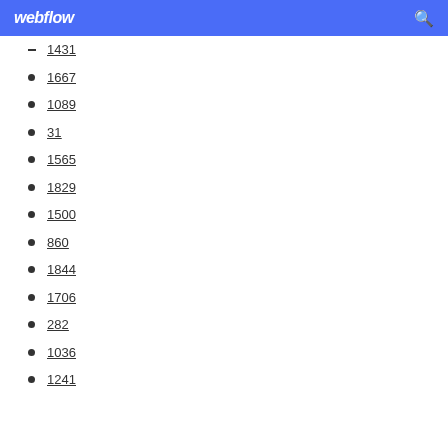webflow
1431
1667
1089
31
1565
1829
1500
860
1844
1706
282
1036
1241